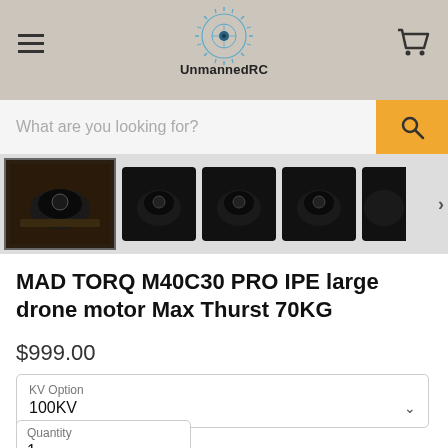UnmannedRC
[Figure (screenshot): Search bar with placeholder text 'What are you looking for?' and orange search button]
[Figure (photo): Thumbnail strip showing drone motor images — one selected thumbnail on left with brownish background, three dark motor thumbnails, and a right arrow]
MAD TORQ M40C30 PRO IPE large drone motor Max Thurst 70KG
$999.00
KV Option
100KV
Quantity
1